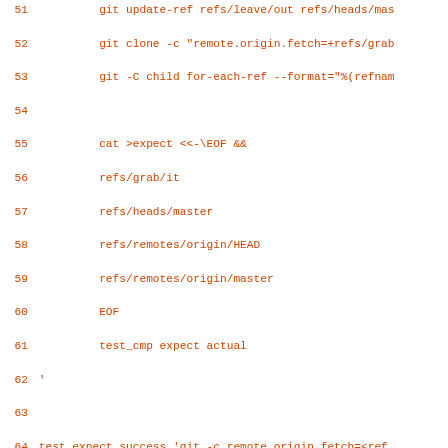[Figure (screenshot): Source code listing showing shell script / git test code, lines 51-80, in orange monospace font on white background. Lines include git commands for cloning, for-each-ref, cat heredoc, test_expect_success blocks.]